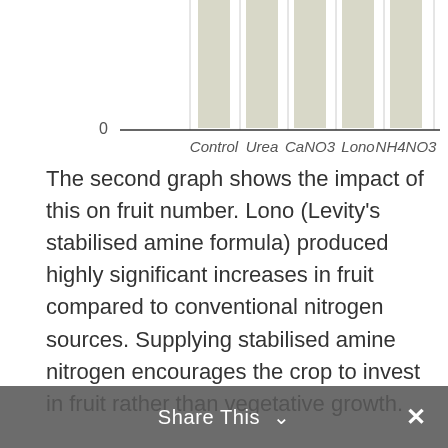[Figure (bar-chart): Top portion of a bar chart showing bars for Control, Urea, CaNO3, Lono, NH4NO3. Only tops of bars are visible. Y-axis shows 0 at bottom of visible area.]
The second graph shows the impact of this on fruit number. Lono (Levity's stabilised amine formula) produced highly significant increases in fruit compared to conventional nitrogen sources. Supplying stabilised amine nitrogen encourages the crop to invest in fruit rather than vegetative growth.
[Figure (bar-chart): Bottom portion of a bar chart. Y-axis labels visible: 2.0, 1.8, 1.6. One bar (Lono) is visible with value approximately 2.0. Y-axis label appears to be cut off at bottom left.]
Share This ✓ ×